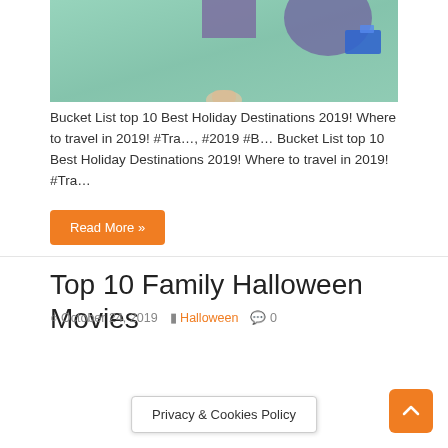[Figure (photo): Aerial/overhead photo of water (turquoise/green) with purple geometric shapes and a blue object, partial view of a hand at bottom]
Bucket List top 10 Best Holiday Destinations 2019! Where to travel in 2019! #Tra…, #2019 #B… Bucket List top 10 Best Holiday Destinations 2019! Where to travel in 2019! #Tra…
Read More »
Top 10 Family Halloween Movies
October 24, 2019  Halloween  0
Privacy & Cookies Policy